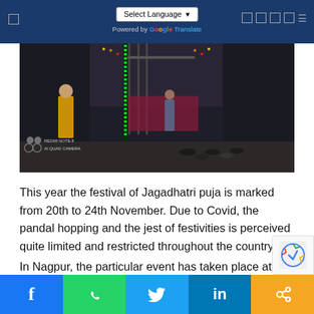Select Language | Powered by Google Translate
[Figure (photo): Photo of a temple entrance at night with green LED lighting and decorative lights. A person in a yellow jacket stands on the left. Shot on Redmi Note 8 AI Quad Camera. Shoes are scattered on the floor.]
This year the festival of Jagadhatri puja is marked from 20th to 24th November. Due to Covid, the pandal hopping and the jest of festivities is perceived quite limited and restricted throughout the country.
In Nagpur, the particular event has taken place at Matri Mandir Kali temple in Dhantoli.
â€œDue to the presence of pandemic, the rush at th
f  [WhatsApp]  [Twitter]  in  [Link]